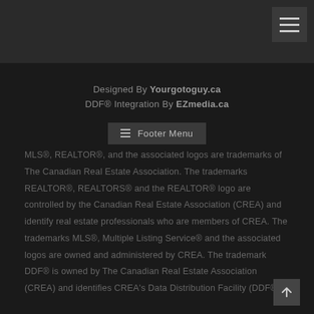[Figure (screenshot): Dark top navigation bar with hamburger menu button in top-right corner]
Designed By Yourgotoguy.ca
DDF® Integration By EZmedia.ca
≡ Footer Menu
MLS®, REALTOR®, and the associated logos are trademarks of The Canadian Real Estate Association. The trademarks REALTOR®, REALTORS® and the REALTOR® logo are controlled by the Canadian Real Estate Association (CREA) and identify real estate professionals who are members of CREA. The trademarks MLS®, Multiple Listing Service® and the associated logos are owned and administered by CREA. The trademark DDF® is owned by The Canadian Real Estate Association (CREA) and identifies CREA's Data Distribution Facility (DDF®).